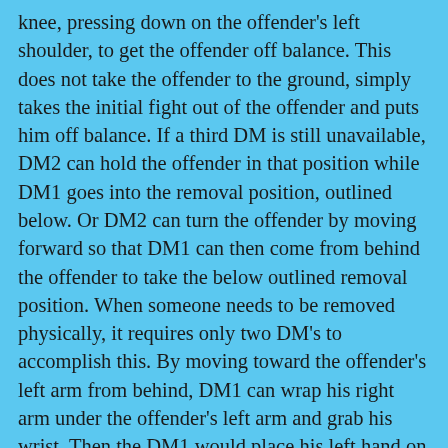knee, pressing down on the offender's left shoulder, to get the offender off balance. This does not take the offender to the ground, simply takes the initial fight out of the offender and puts him off balance. If a third DM is still unavailable, DM2 can hold the offender in that position while DM1 goes into the removal position, outlined below. Or DM2 can turn the offender by moving forward so that DM1 can then come from behind the offender to take the below outlined removal position. When someone needs to be removed physically, it requires only two DM's to accomplish this. By moving toward the offender's left arm from behind, DM1 can wrap his right arm under the offender's left arm and grab his wrist. Then the DM1 would place his left hand on the offender's left forearm or elbow. If DM2 can do the same thing in reverse on the opposite side, the offender can be moved out of the building regardless of his size or weight, just by pushing forward on his elbows. If a third DM is available, both DM2 and DM3 would be on opposite sides of the offender and at an angle behind him. If the offender becomes physical, both DM2 and DM3 could immediately go to the removal position and escort the offender out the door. Or if a third DM arrives while DM2 has the offender off